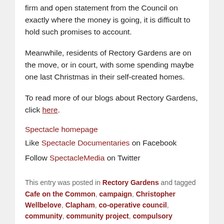firm and open statement from the Council on exactly where the money is going, it is difficult to hold such promises to account.
Meanwhile, residents of Rectory Gardens are on the move, or in court, with some spending maybe one last Christmas in their self-created homes.
To read more of our blogs about Rectory Gardens, click here.
Spectacle homepage
Like Spectacle Documentaries on Facebook
Follow SpectacleMedia on Twitter
This entry was posted in Rectory Gardens and tagged Cafe on the Common, campaign, Christopher Wellbelove, Clapham, co-operative council, community, community project, compulsory purchase order, council housing, CPO, eviction, gated-community, gentrification, Helen O'Malley, Housing, housing co-op, housing co-operative, housing crisis, Housing policy, Jon Fitzmaurice, Kate Hoey, Labour Cabinet Member for Housing, Labour